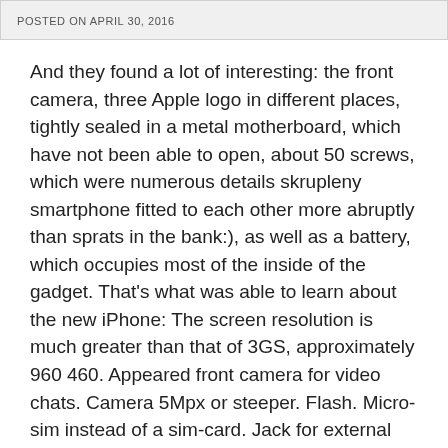POSTED ON APRIL 30, 2016
And they found a lot of interesting: the front camera, three Apple logo in different places, tightly sealed in a metal motherboard, which have not been able to open, about 50 screws, which were numerous details skrupleny smartphone fitted to each other more abruptly than sprats in the bank:), as well as a battery, which occupies most of the inside of the gadget. That's what was able to learn about the new iPhone: The screen resolution is much greater than that of 3GS, approximately 960 460. Appeared front camera for video chats. Camera 5Mpx or steeper. Flash. Micro-sim instead of a sim-card. Jack for external microphone. Separate volume buttons.
Power button, Mute and volume controls made of metal. Also changed the design of your smartphone.